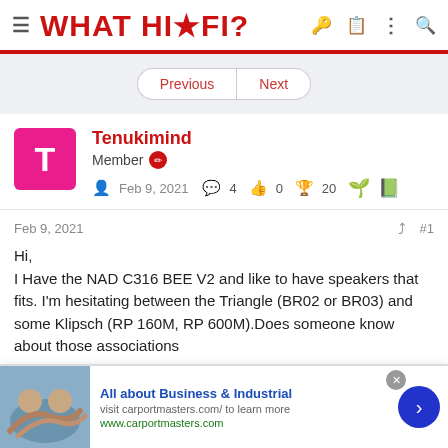WHAT HI·FI?
Previous | Next
Tenukimind
Member
Feb 9, 2021  4  0  20
Feb 9, 2021
#1
Hi,
I Have the NAD C316 BEE V2 and like to have speakers that fits. I'm hesitating between the Triangle (BR02 or BR03) and some Klipsch (RP 160M, RP 600M).Does someone know about those associations
[Figure (screenshot): Advertisement banner: All about Business & Industrial, visit carportmasters.com/ to learn more, www.carportmasters.com, with a handshake photo and a blue arrow button]